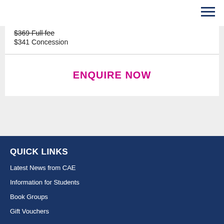$369 Full fee (strikethrough)
$341 Concession
ENQUIRE NOW
QUICK LINKS
Latest News from CAE
Information for Students
Book Groups
Gift Vouchers